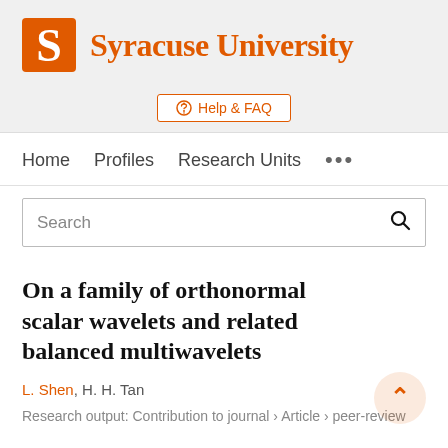[Figure (logo): Syracuse University logo: orange S block letter and orange serif wordmark 'Syracuse University' on a light grey background]
Help & FAQ
Home   Profiles   Research Units   ...
Search
On a family of orthonormal scalar wavelets and related balanced multiwavelets
L. Shen, H. H. Tan
Research output: Contribution to journal › Article › peer-review